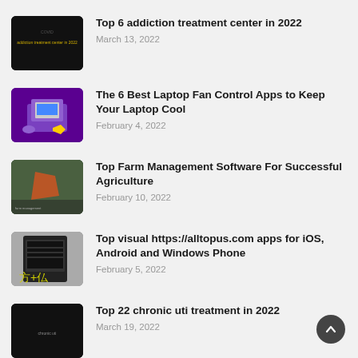Top 6 addiction treatment center in 2022
March 13, 2022
The 6 Best Laptop Fan Control Apps to Keep Your Laptop Cool
February 4, 2022
Top Farm Management Software For Successful Agriculture
February 10, 2022
Top visual https://alltopus.com apps for iOS, Android and Windows Phone
February 5, 2022
Top 22 chronic uti treatment in 2022
March 19, 2022